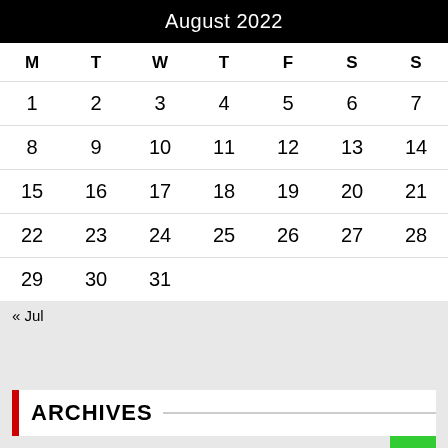August 2022
| M | T | W | T | F | S | S |
| --- | --- | --- | --- | --- | --- | --- |
| 1 | 2 | 3 | 4 | 5 | 6 | 7 |
| 8 | 9 | 10 | 11 | 12 | 13 | 14 |
| 15 | 16 | 17 | 18 | 19 | 20 | 21 |
| 22 | 23 | 24 | 25 | 26 | 27 | 28 |
| 29 | 30 | 31 |  |  |  |  |
« Jul
ARCHIVES
Select Month